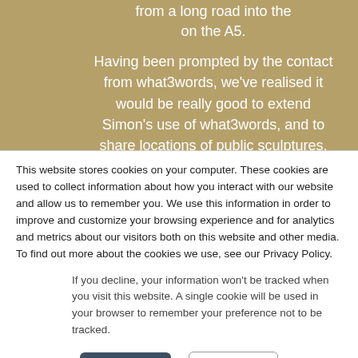from a long road into the on the A5.
Having been prompted by the contact from what3words, we've realised it would be really good to extend Simon's use of what3words, and to share locations of public sculptures.
This website stores cookies on your computer. These cookies are used to collect information about how you interact with our website and allow us to remember you. We use this information in order to improve and customize your browsing experience and for analytics and metrics about our visitors both on this website and other media. To find out more about the cookies we use, see our Privacy Policy.
If you decline, your information won't be tracked when you visit this website. A single cookie will be used in your browser to remember your preference not to be tracked.
Accept
Decline